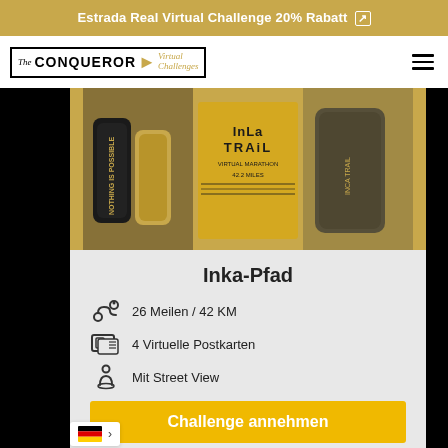Estrada Real Virtual Challenge 20% Rabatt
[Figure (logo): The Conqueror Virtual Challenges logo with black border box and gold arrow]
[Figure (photo): Inca Trail virtual challenge banner showing medals, wristbands and golden box on amber background]
Inka-Pfad
26 Meilen / 42 KM
4 Virtuelle Postkarten
Mit Street View
Challenge annehmen